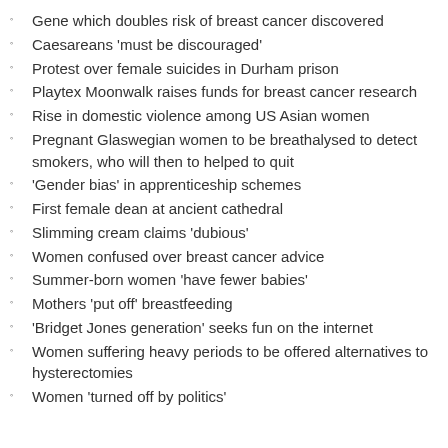Gene which doubles risk of breast cancer discovered
Caesareans 'must be discouraged'
Protest over female suicides in Durham prison
Playtex Moonwalk raises funds for breast cancer research
Rise in domestic violence among US Asian women
Pregnant Glaswegian women to be breathalysed to detect smokers, who will then to helped to quit
'Gender bias' in apprenticeship schemes
First female dean at ancient cathedral
Slimming cream claims 'dubious'
Women confused over breast cancer advice
Summer-born women 'have fewer babies'
Mothers 'put off' breastfeeding
'Bridget Jones generation' seeks fun on the internet
Women suffering heavy periods to be offered alternatives to hysterectomies
Women 'turned off by politics'